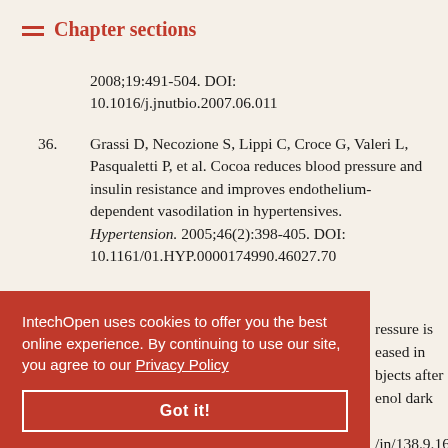Chapter sections
2008;19:491-504. DOI: 10.1016/j.jnutbio.2007.06.011
36. Grassi D, Necozione S, Lippi C, Croce G, Valeri L, Pasqualetti P, et al. Cocoa reduces blood pressure and insulin resistance and improves endothelium-dependent vasodilation in hypertensives. Hypertension. 2005;46(2):398-405. DOI: 10.1161/01.HYP.0000174990.46027.70
37. Grassi D, Desideri G, Necozione S, Lippi C, ...pressure is ...eased in ...bjects after ...enol dark .../jn/138.9.1671
IntechOpen uses cookies to offer you the best online experience. By continuing to use our site, you agree to our Privacy Policy
Got it!